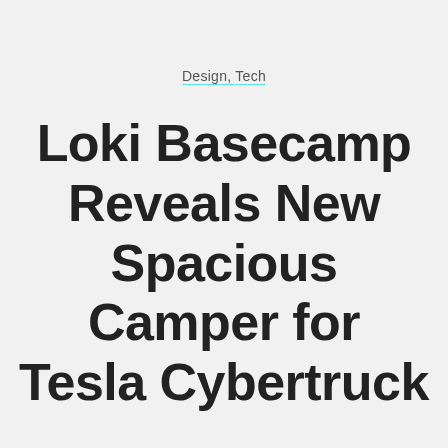Design, Tech
Loki Basecamp Reveals New Spacious Camper for Tesla Cybertruck